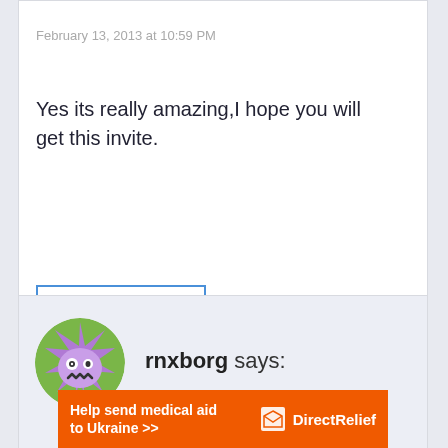February 13, 2013 at 10:59 PM
Yes its really amazing,I hope you will get this invite.
Reply
rnxborg says:
[Figure (illustration): Circular avatar with a purple star/monster cartoon character on a green background]
Help send medical aid to Ukraine >>
[Figure (logo): Direct Relief logo with white box icon and text on orange background]